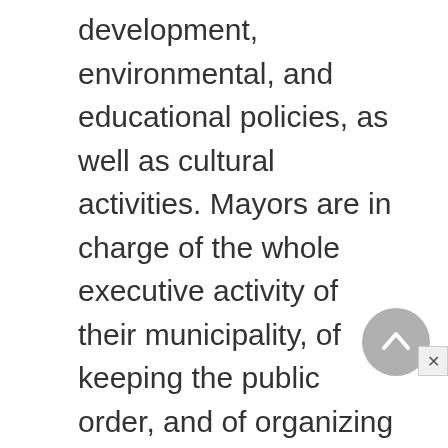development, environmental, and educational policies, as well as cultural activities. Mayors are in charge of the whole executive activity of their municipality, of keeping the public order, and of organizing distribution of the municipal budget.
Bulgaria is also divided into 28 provinces (oblasti), which are larger administrative territorial units through which the government decentralizes its policies. The Council of Ministers